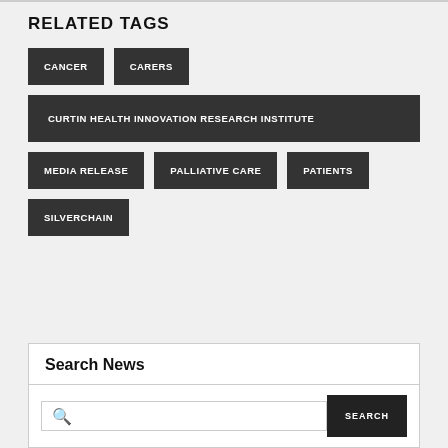RELATED TAGS
CANCER
CARERS
CURTIN HEALTH INNOVATION RESEARCH INSTITUTE
MEDIA RELEASE
PALLIATIVE CARE
PATIENTS
SILVERCHAIN
Search News
SEARCH